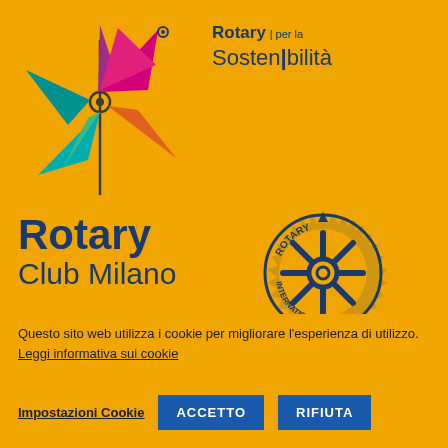[Figure (logo): Colorful pinwheel logo with triangular blades in pink, teal, orange, green, purple colors with a circular center, styled as Rotary sustainability pinwheel]
Rotary | per la Sostenibilità
Rotary Club Milano
NEL NETWORK DI
Questo sito web utilizza i cookie per migliorare l'esperienza di utilizzo. Leggi informativa sui cookie
Impostazioni Cookie   ACCETTO   RIFIUTA